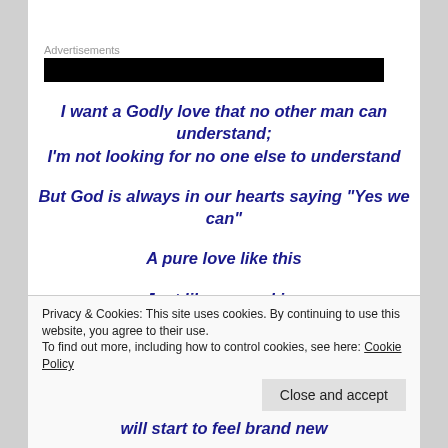Advertisements
I want a Godly love that no other man can understand;
I'm not looking for no one else to understand
But God is always in our hearts saying "Yes we can"
A pure love like this
Just like a pure kiss
A whole-hearted love never like this
Privacy & Cookies: This site uses cookies. By continuing to use this website, you agree to their use.
To find out more, including how to control cookies, see here: Cookie Policy
Close and accept
will start to feel brand new